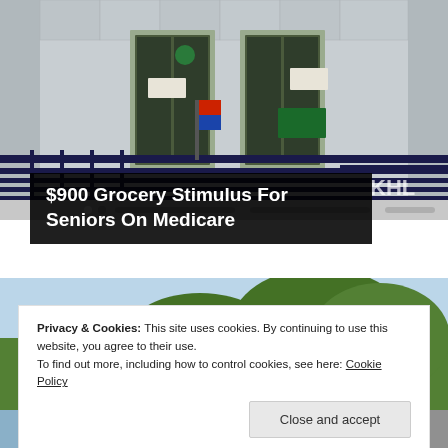[Figure (photo): Exterior of a government or civic building with glass double doors, metal railings forming a ramp/walkway, signs on the doors, and a logo visible on the right side. Gray stone facade.]
$900 Grocery Stimulus For Seniors On Medicare
[Figure (photo): Partial outdoor photo showing trees and blue sky, partially obscured by cookie consent banner.]
Privacy & Cookies: This site uses cookies. By continuing to use this website, you agree to their use.
To find out more, including how to control cookies, see here: Cookie Policy
Close and accept
[Figure (photo): Bottom strip showing partial outdoor/building photos.]